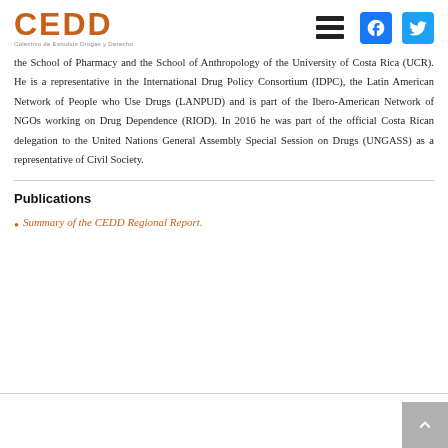CEDD — Colectivo de Estudios Drogas y Derecho
the School of Pharmacy and the School of Anthropology of the University of Costa Rica (UCR). He is a representative in the International Drug Policy Consortium (IDPC), the Latin American Network of People who Use Drugs (LANPUD) and is part of the Ibero-American Network of NGOs working on Drug Dependence (RIOD). In 2016 he was part of the official Costa Rican delegation to the United Nations General Assembly Special Session on Drugs (UNGASS) as a representative of Civil Society.
Publications
Summary of the CEDD Regional Report.